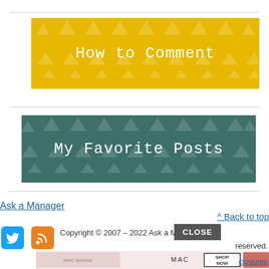[Figure (illustration): Yellow banner with triangle pattern and text 'How to Comment' in white on golden-yellow background]
[Figure (illustration): Teal/dark-green banner with triangle pattern and text 'My Favorite Posts' in white]
Ask a Manager
^ Back to top
[Figure (logo): Twitter bird logo icon in blue]
[Figure (logo): RSS feed icon in orange]
Copyright © 2007 – 2022 Ask a Manager. All rights reserved.
[Figure (screenshot): Close button overlay in dark gray with text CLOSE]
[Figure (photo): MAC cosmetics advertisement with lipsticks and SHOP NOW button]
closures